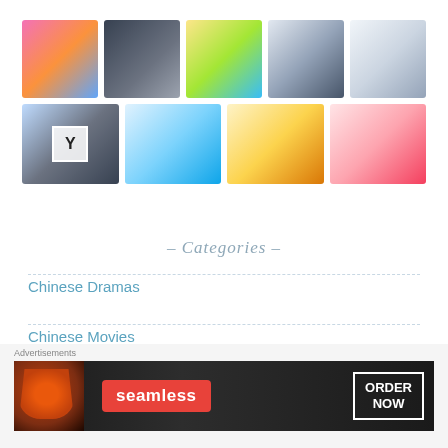[Figure (photo): Grid of 9 Chinese/Korean drama poster images arranged in two rows: top row has 5 posters, bottom row has 4 posters. Posters show various drama cast members and promotional art.]
- Categories -
Chinese Dramas
Chinese Movies
Advertisements
[Figure (screenshot): Seamless food ordering advertisement banner showing pizza on the left, Seamless logo in center, and ORDER NOW button on right against dark background.]